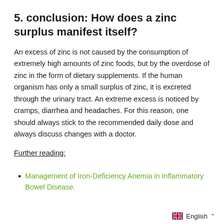5. conclusion: How does a zinc surplus manifest itself?
An excess of zinc is not caused by the consumption of extremely high amounts of zinc foods, but by the overdose of zinc in the form of dietary supplements. If the human organism has only a small surplus of zinc, it is excreted through the urinary tract. An extreme excess is noticed by cramps, diarrhea and headaches. For this reason, one should always stick to the recommended daily dose and always discuss changes with a doctor.
Further reading:
Management of Iron-Deficiency Anemia in Inflammatory Bowel Disease.
English